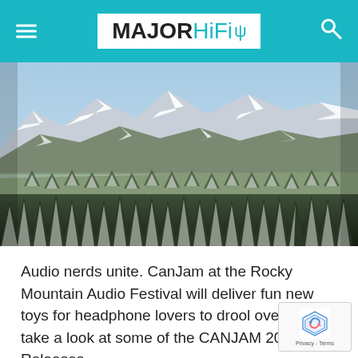MAJOR HiFi
[Figure (photo): Aerial view of snow-covered Rocky Mountain forest with snow-capped peaks in the background]
Audio nerds unite. CanJam at the Rocky Mountain Audio Festival will deliver fun new toys for headphone lovers to drool over. Let's take a look at some of the CANJAM 2018 New Releases.